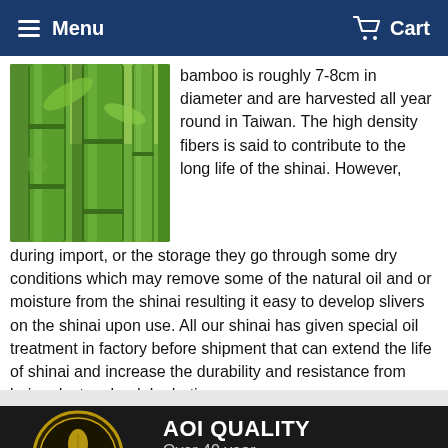Menu   Cart
[Figure (photo): Close-up photo of green bamboo stalks]
bamboo is roughly 7-8cm in diameter and are harvested all year round in Taiwan. The high density fibers is said to contribute to the long life of the shinai. However, during import, or the storage they go through some dry conditions which may remove some of the natural oil and or moisture from the shinai resulting it easy to develop slivers on the shinai upon use. All our shinai has given special oil treatment in factory before shipment that can extend the life of shinai and increase the durability and resistance from being destroy by dehydration.
[Figure (logo): AOI logo - gold circular emblem on dark background]
AOI QUALITY
Over 40 year
AOI Reward Point